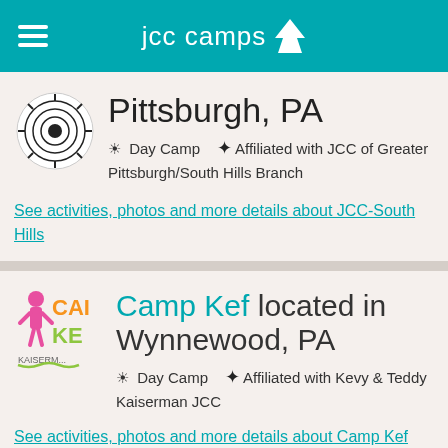jcc camps
Pittsburgh, PA
Day Camp   Affiliated with JCC of Greater Pittsburgh/South Hills Branch
See activities, photos and more details about JCC-South Hills
Camp Kef located in Wynnewood, PA
Day Camp   Affiliated with Kevy & Teddy Kaiserman JCC
See activities, photos and more details about Camp Kef